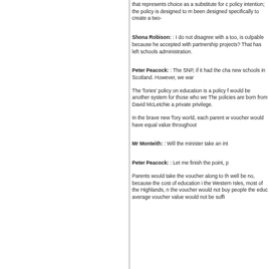that represents choice as a substitute for c... policy intention; the policy is designed to m... been designed specifically to create a two-...
Shona Robison: : I do not disagree with a... too, is culpable because he accepted with... partnership projects? That has left schools... administration.
Peter Peacock: : The SNP, if it had the cha... new schools in Scotland. However, we war...
The Tories' policy on education is a policy f... would be another system for those who we... The policies are born from David McLetchie... a private privilege.
In the brave new Tory world, each parent w... voucher would have equal value throughout...
Mr Monteith: : Will the minister take an int...
Peter Peacock: : Let me finish the point, p...
Parents would take the voucher along to th... well be no, because the cost of education i... the Western Isles, most of the Highlands, n... the voucher would not buy people the educ... average voucher value would not be suffi...